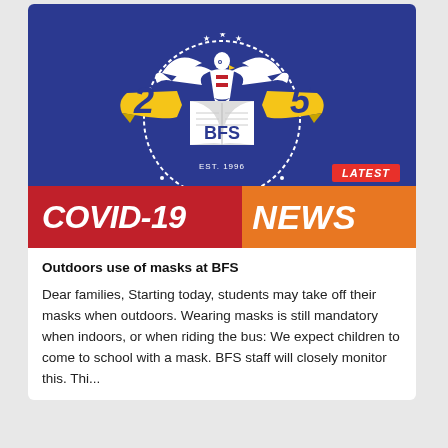[Figure (logo): BFS school 25th anniversary logo on dark blue background with eagle, shield, open book, golden ribbon banners showing '2' and '5', text 'BFS', 'EST. 1996', '25 YEARS TOGETHER'. Below: 'LATEST' tag and 'COVID-19 NEWS' banner in red and orange.]
Outdoors use of masks at BFS
Dear families, Starting today, students may take off their masks when outdoors. Wearing masks is still mandatory when indoors, or when riding the bus: We expect children to come to school with a mask. BFS staff will closely monitor this. The...